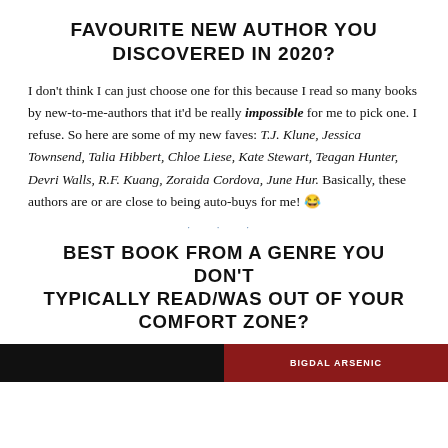FAVOURITE NEW AUTHOR YOU DISCOVERED IN 2020?
I don't think I can just choose one for this because I read so many books by new-to-me-authors that it'd be really impossible for me to pick one. I refuse. So here are some of my new faves: T.J. Klune, Jessica Townsend, Talia Hibbert, Chloe Liese, Kate Stewart, Teagan Hunter, Devri Walls, R.F. Kuang, Zoraida Cordova, June Hur. Basically, these authors are or are close to being auto-buys for me! 😂
BEST BOOK FROM A GENRE YOU DON'T TYPICALLY READ/WAS OUT OF YOUR COMFORT ZONE?
[Figure (photo): Two book cover images partially visible at the bottom: left side shows a dark/black cover, right side shows a dark red cover with white text partially reading 'BIGDAL ARSENIC' or similar]